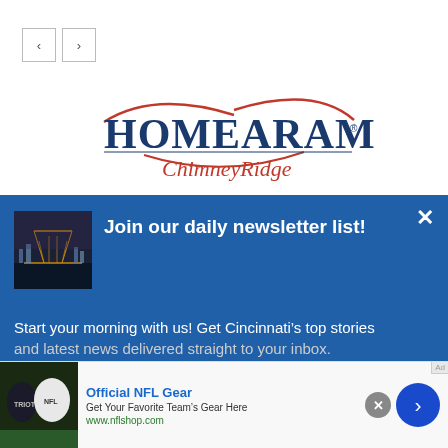[Figure (logo): Navigation previous/next arrow buttons]
[Figure (logo): HOMEARAMA ChimneyRidge logo with red swoosh decorations and blue serif text]
[Figure (infographic): Blue newsletter overlay popup with Cincinnati bridge photo, title 'Join our daily newsletter list!', close X button, and body text 'Start your morning with us! Get Cincinnati's top stories']
[Figure (infographic): Advertisement bar: Official NFL Gear - Get Your Favorite Team's Gear Here, www.nflshop.com, with NFL jerseys image and blue arrow button]